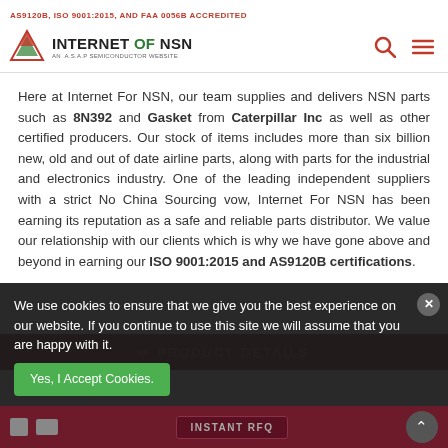AS9120B, ISO 9001:2015, AND FAA 0056B ACCREDITED
[Figure (logo): Internet of NSN logo with green leaf icon and tagline AN A.S.A.P SEMICONDUCTOR WEBSITE]
Here at Internet For NSN, our team supplies and delivers NSN parts such as 8N392 and Gasket from Caterpillar Inc as well as other certified producers. Our stock of items includes more than six billion new, old and out of date airline parts, along with parts for the industrial and electronics industry. One of the leading independent suppliers with a strict No China Sourcing vow, Internet For NSN has been earning its reputation as a safe and reliable parts distributor. We value our relationship with our clients which is why we have gone above and beyond in earning our ISO 9001:2015 and AS9120B certifications.
We use cookies to ensure that we give you the best experience on our website. If you continue to use this site we will assume that you are happy with it.